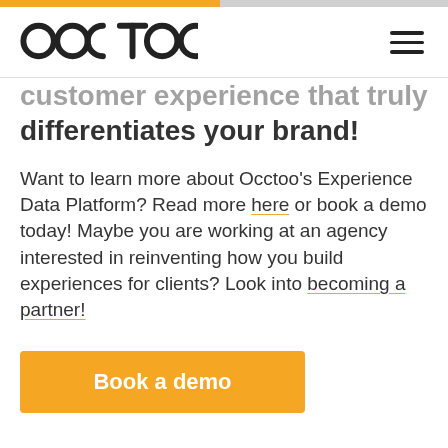[Figure (logo): Occtoo logo with orange dot]
customer experience that truly differentiates your brand!
Want to learn more about Occtoo's Experience Data Platform? Read more here or book a demo today! Maybe you are working at an agency interested in reinventing how you build experiences for clients? Look into becoming a partner!
Book a demo